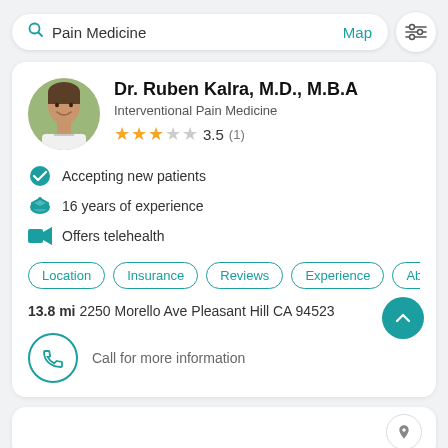[Figure (screenshot): Search bar with 'Pain Medicine' text, Map link, and filter icon]
Dr. Ruben Kalra, M.D., M.B.A
Interventional Pain Medicine
3.5 (1)
Accepting new patients
16 years of experience
Offers telehealth
Location | Insurance | Reviews | Experience | Abo
13.8 mi 2250 Morello Ave Pleasant Hill CA 94523
Call for more information